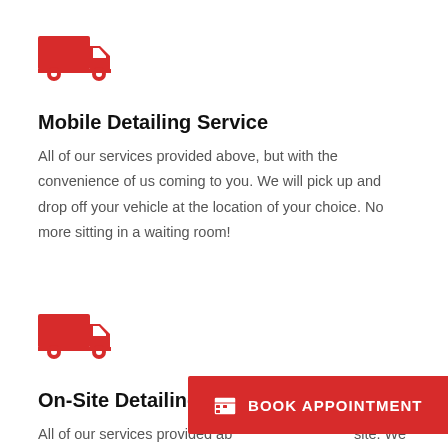[Figure (illustration): Red delivery truck icon]
Mobile Detailing Service
All of our services provided above, but with the convenience of us coming to you. We will pick up and drop off your vehicle at the location of your choice. No more sitting in a waiting room!
[Figure (illustration): Red delivery truck icon]
On-Site Detailing Service
All of our services provided ab... site. We do charge extra for this service. Please contact us to book On Site Detailing.
BOOK APPOINTMENT